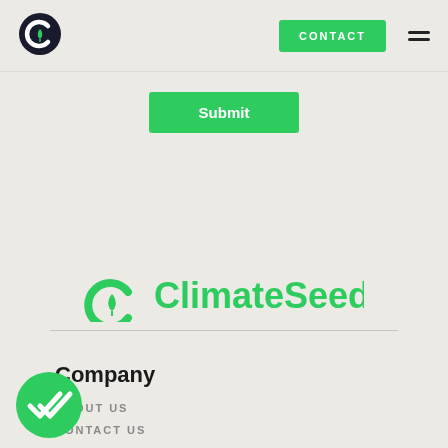[Figure (logo): ClimateSeed logo mark — dark circular C with leaf inside]
CONTACT
Submit
[Figure (logo): ClimateSeed full logo — green circular C mark with leaf and green ClimateSeed wordmark]
Company
ABOUT US
CONTACT US
[Figure (illustration): Green circle with white double-check mark icon]